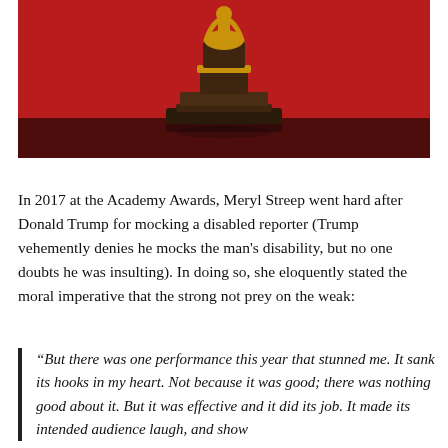[Figure (photo): A gold and dark bronze award trophy (resembling an Oscar-style statuette) on a dark reflective surface against a vivid red background.]
In 2017 at the Academy Awards, Meryl Streep went hard after Donald Trump for mocking a disabled reporter (Trump vehemently denies he mocks the man's disability, but no one doubts he was insulting). In doing so, she eloquently stated the moral imperative that the strong not prey on the weak:
“But there was one performance this year that stunned me. It sank its hooks in my heart. Not because it was good; there was nothing good about it. But it was effective and it did its job. It made its intended audience laugh, and show